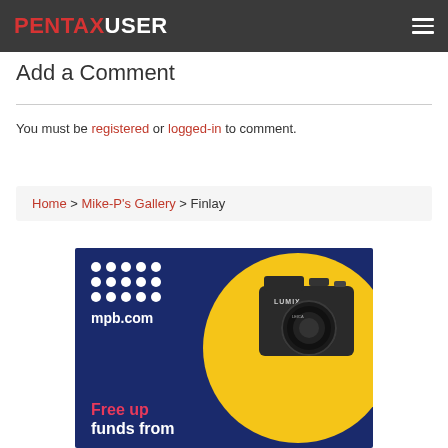PENTAXUSER
Add a Comment
You must be registered or logged-in to comment.
Home > Mike-P's Gallery > Finlay
[Figure (photo): MPB.com advertisement banner with blue background, yellow circle, Lumix camera image, white dot grid logo, and 'Free up funds from' text in pink]